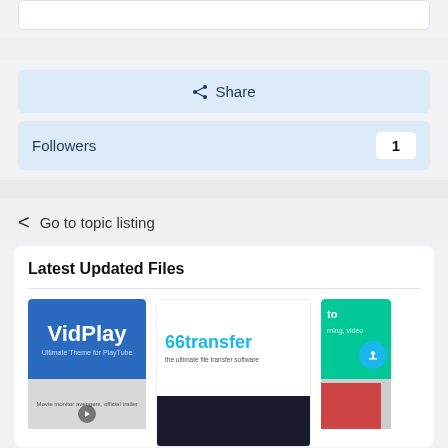[Figure (screenshot): Top white rounded box (partial UI element)]
Share
Followers  1
Go to topic listing
Latest Updated Files
[Figure (screenshot): VidPlay - Ultimate Theme for PlayTube card thumbnail]
[Figure (screenshot): 66transfer - the ultimate file transfer software card thumbnail]
[Figure (screenshot): Partial third card thumbnail with green header and upload icon]